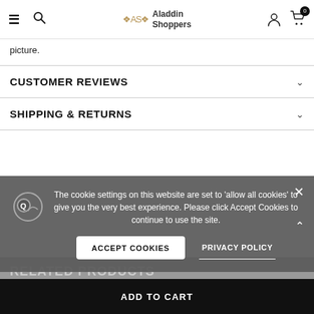Aladdin Shoppers — navigation header with hamburger, search, logo, account and cart icons
picture.
CUSTOMER REVIEWS
SHIPPING & RETURNS
The cookie settings on this website are set to 'allow all cookies' to give you the very best experience. Please click Accept Cookies to continue to use the site.
ACCEPT COOKIES
PRIVACY POLICY
RELATED PRODUCTS
ADD TO CART